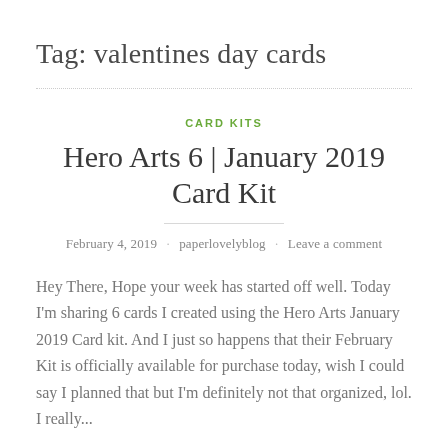Tag: valentines day cards
CARD KITS
Hero Arts 6 | January 2019 Card Kit
February 4, 2019 · paperlovelyblog · Leave a comment
Hey There, Hope your week has started off well. Today I'm sharing 6 cards I created using the Hero Arts January 2019 Card kit. And I just so happens that their February Kit is officially available for purchase today, wish I could say I planned that but I'm definitely not that organized, lol. I really...